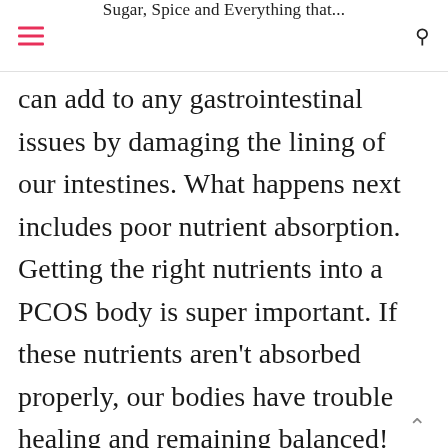Sugar, Spice and Everything that...
can add to any gastrointestinal issues by damaging the lining of our intestines. What happens next includes poor nutrient absorption. Getting the right nutrients into a PCOS body is super important. If these nutrients aren't absorbed properly, our bodies have trouble healing and remaining balanced! Your balance of microflora becomes disrupted and this can impact digestion and immune function. So, whenever you think about having a few